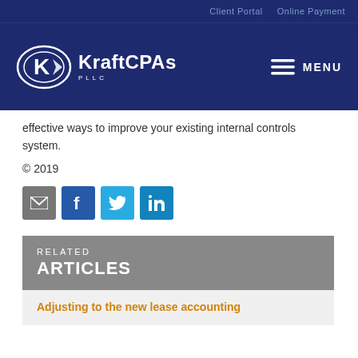Client Portal   Online Payment
[Figure (logo): KraftCPAs PLLC logo with oval K emblem and MENU hamburger button on dark navy background]
effective ways to improve your existing internal controls system.
© 2019
[Figure (infographic): Social share icons: email (gray), Facebook (blue), Twitter (light blue), LinkedIn (blue)]
RELATED ARTICLES
Adjusting to the new lease accounting